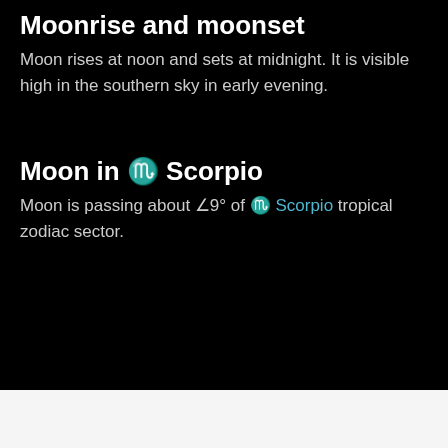Moonrise and moonset
Moon rises at noon and sets at midnight. It is visible high in the southern sky in early evening.
Moon in ♏ Scorpio
Moon is passing about ∠9° of ♏ Scorpio tropical zodiac sector.